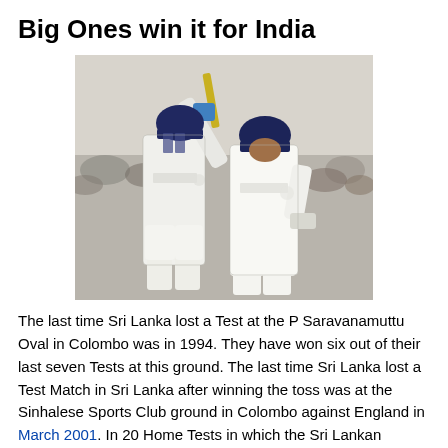Big Ones win it for India
[Figure (photo): Two Indian cricket players in white Test cricket uniforms with blue SAHARA helmets. The player on the left is raising his bat in celebration. Both are wearing batting gloves and pads.]
The last time Sri Lanka lost a Test at the P Saravanamuttu Oval in Colombo was in 1994. They have won six out of their last seven Tests at this ground. The last time Sri Lanka lost a Test Match in Sri Lanka after winning the toss was at the Sinhalese Sports Club ground in Colombo against England in March 2001. In 20 Home Tests in which the Sri Lankan captain has won the toss since that game, Sri Lanka have won 15 times and drawn 5 times. Sri Lanka have lost only twice in 37 Tests in which they made at least 400 in